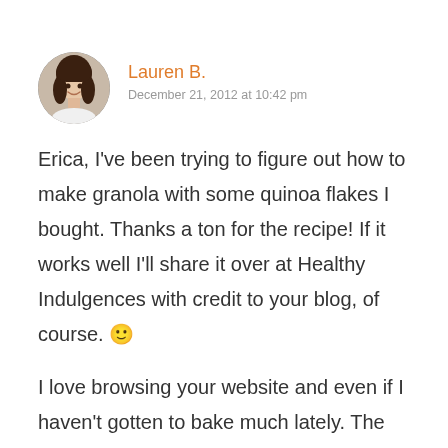[Figure (photo): Circular avatar photo of a young woman with long dark hair, smiling]
Lauren B.
December 21, 2012 at 10:42 pm
Erica, I've been trying to figure out how to make granola with some quinoa flakes I bought. Thanks a ton for the recipe! If it works well I'll share it over at Healthy Indulgences with credit to your blog, of course. 🙂
I love browsing your website and even if I haven't gotten to bake much lately. The mouthwateringly good yet simple, clean